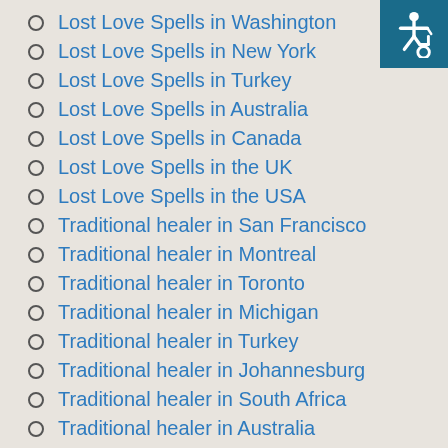Lost Love Spells in Washington
Lost Love Spells in New York
Lost Love Spells in Turkey
Lost Love Spells in Australia
Lost Love Spells in Canada
Lost Love Spells in the UK
Lost Love Spells in the USA
Traditional healer in San Francisco
Traditional healer in Montreal
Traditional healer in Toronto
Traditional healer in Michigan
Traditional healer in Turkey
Traditional healer in Johannesburg
Traditional healer in South Africa
Traditional healer in Australia